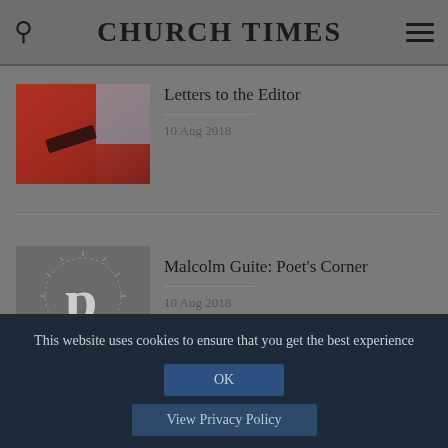CHURCH TIMES
[Figure (photo): Red letter box thumbnail image]
Letters to the Editor
10 Aug 2018
[Figure (logo): Poet's Corner logo with decorative P letter]
Malcolm Guite: Poet's Corner
10 Aug 2018
This website uses cookies to ensure that you get the best experience
OK
View Privacy Policy